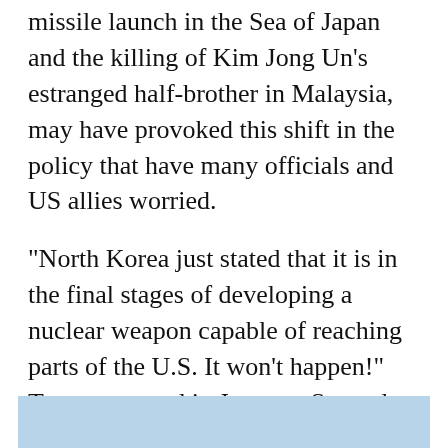missile launch in the Sea of Japan and the killing of Kim Jong Un's estranged half-brother in Malaysia, may have provoked this shift in the policy that have many officials and US allies worried.
“North Korea just stated that it is in the final stages of developing a nuclear weapon capable of reaching parts of the U.S. It won’t happen!” Trump tweeted in January. Several weeks later, North Korea conducted its missile test.
[Figure (other): Light blue rectangular graphic element at the bottom of the page]